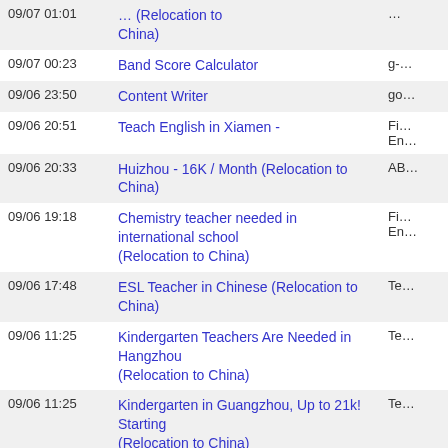| Date | Title | Category |
| --- | --- | --- |
| 09/07 01:01 | ... (Relocation to China) | ... |
| 09/07 00:23 | Band Score Calculator | g-... |
| 09/06 23:50 | Content Writer | go... |
| 09/06 20:51 | Teach English in Xiamen - | Fi... En... |
| 09/06 20:33 | Huizhou - 16K / Month (Relocation to China) | AB... |
| 09/06 19:18 | Chemistry teacher needed in international school (Relocation to China) | Fi... En... |
| 09/06 17:48 | ESL Teacher in Chinese (Relocation to China) | Te... |
| 09/06 11:25 | Kindergarten Teachers Are Needed in Hangzhou (Relocation to China) | Te... |
| 09/06 11:25 | Kindergarten in Guangzhou, Up to 21k! Starting (Relocation to China) | Te... |
| 09/06 09:34 | The great spell caster in the world, WhatsApp..+2348030934103 | W... |
| 09/06 08:42 | Guerrilla Garage Door Repairs | Gu... Re... |
| 09/06 05:05 | wrok from home | DA... |
| 09/06 04:05 | The great spell caster in the world, WhatsApp..+2348030934103 | W... |
| 09/06 04:05 | High School (Relocation to China) | Te... |
| 09/06 00:05 | ESL teacher for 4.5 month with free TEFL (Relocation | Fi... |